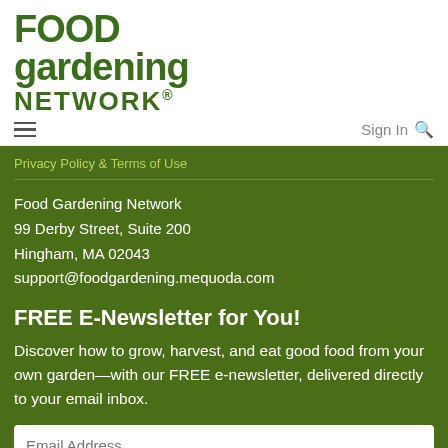[Figure (logo): Food Gardening Network logo in dark green bold serif/sans text with leaf accent]
☰   Sign In 🔍
Privacy Policy & Terms of Use
Food Gardening Network
99 Derby Street, Suite 200
Hingham, MA 02043
support@foodgardening.mequoda.com
FREE E-Newsletter for You!
Discover how to grow, harvest, and eat good food from your own garden—with our FREE e-newsletter, delivered directly to your email inbox.
Email Address